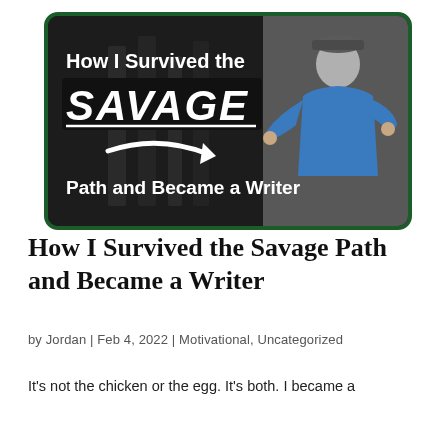[Figure (illustration): Blog post header image with dark background. Text reads 'How I Survived the SAVAGE Path and Became a Writer' with a curved white arrow. A man in a blue shirt wearing a flat cap gestures with his hands on the right side.]
How I Survived the Savage Path and Became a Writer
by Jordan | Feb 4, 2022 | Motivational, Uncategorized
It's not the chicken or the egg. It's both. I became a